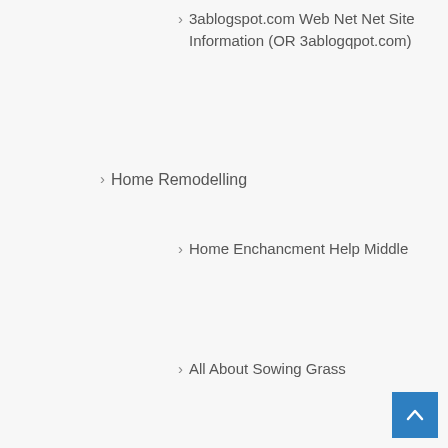3ablogspot.com Web Net Net Site Information (OR 3ablogqpot.com)
Home Remodelling
Home Enchancment Help Middle
All About Sowing Grass